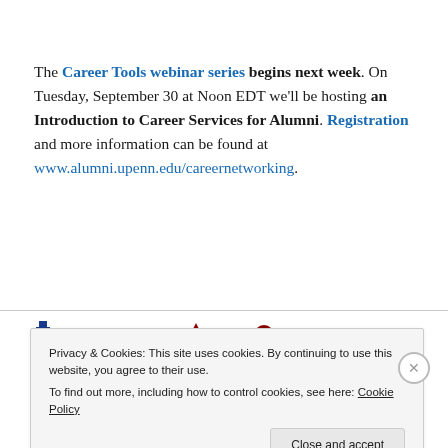The Career Tools webinar series begins next week. On Tuesday, September 30 at Noon EDT we'll be hosting an Introduction to Career Services for Alumni. Registration and more information can be found at www.alumni.upenn.edu/careernetworking.
[Figure (logo): University of Pennsylvania alumni logo strip partially visible]
Privacy & Cookies: This site uses cookies. By continuing to use this website, you agree to their use. To find out more, including how to control cookies, see here: Cookie Policy